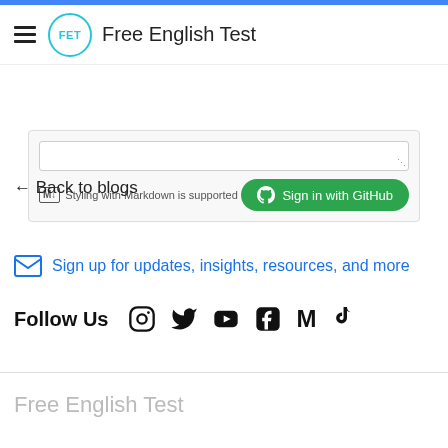FET Free English Test
[Figure (screenshot): Comment box with Markdown note and Sign in with GitHub button]
← Back to blogs
Sign up for updates, insights, resources, and more
Follow Us
Free English Test